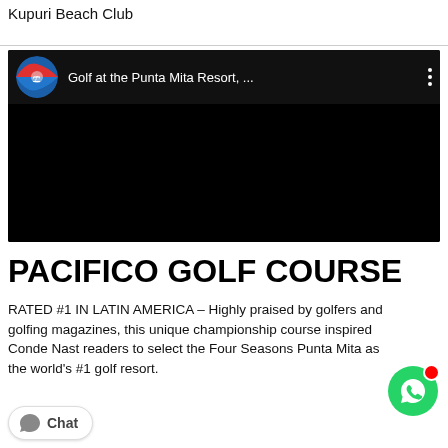Kupuri Beach Club
[Figure (screenshot): Embedded YouTube video player showing 'Golf at the Punta Mita Resort, ...' with a circular thumbnail of a beach/resort scene and a three-dot menu icon, on a black background.]
PACIFICO GOLF COURSE
RATED #1 IN LATIN AMERICA – Highly praised by golfers and golfing magazines, this unique championship course inspired Conde Nast readers to select the Four Seasons Punta Mita as the world's #1 golf resort.